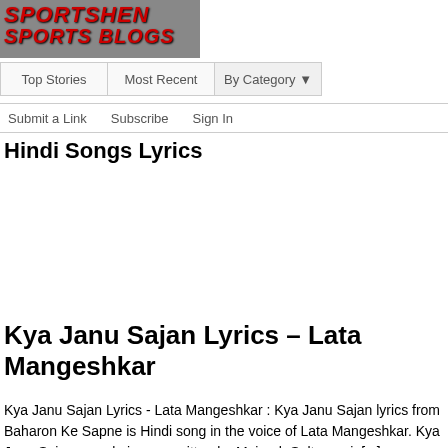[Figure (logo): Sportshen Sports Blogs logo with skier background image]
Top Stories | Most Recent | By Category
Submit a Link  Subscribe  Sign In
Hindi Songs Lyrics
Kya Janu Sajan Lyrics – Lata Mangeshkar
Kya Janu Sajan Lyrics - Lata Mangeshkar : Kya Janu Sajan lyrics from Baharon Ke Sapne is Hindi song in the voice of Lata Mangeshkar. Kya Janu Sajan song lyrics are written by Majrooh Sultanpuri. [...]